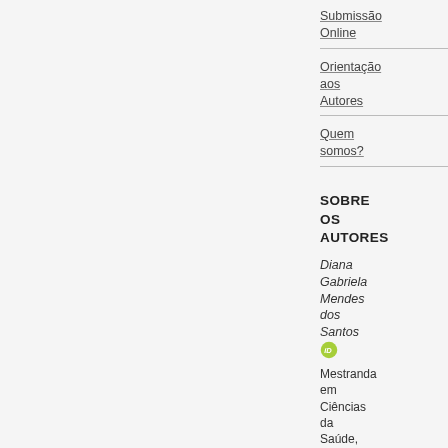Submissão Online
Orientação aos Autores
Quem somos?
SOBRE OS AUTORES
Diana Gabriela Mendes dos Santos
Mestranda em Ciências da Saúde, Universidade Federal de São Carlos. Brasil
Departamento de